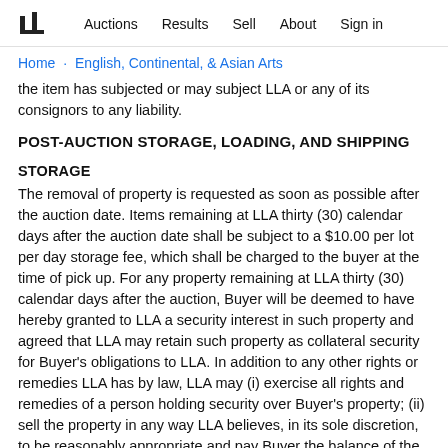Auctions  Results  Sell  About  Sign in
Home · English, Continental, & Asian Arts
the item has subjected or may subject LLA or any of its consignors to any liability.
POST-AUCTION STORAGE, LOADING, AND SHIPPING
STORAGE
The removal of property is requested as soon as possible after the auction date. Items remaining at LLA thirty (30) calendar days after the auction date shall be subject to a $10.00 per lot per day storage fee, which shall be charged to the buyer at the time of pick up. For any property remaining at LLA thirty (30) calendar days after the auction, Buyer will be deemed to have hereby granted to LLA a security interest in such property and agreed that LLA may retain such property as collateral security for Buyer's obligations to LLA. In addition to any other rights or remedies LLA has by law, LLA may (i) exercise all rights and remedies of a person holding security over Buyer's property; (ii) sell the property in any way LLA believes, in its sole discretion, to be reasonably appropriate and pay Buyer the balance of the price realized after deduction of all amounts due to LLA; and (iii) take any other action LLA deems necessary or appropriate